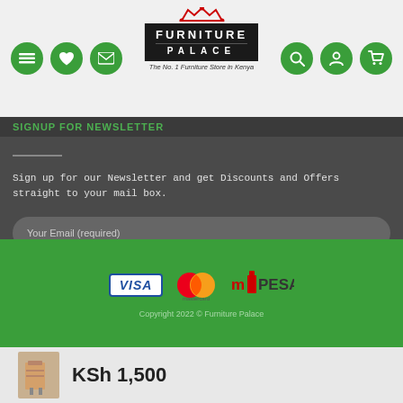[Figure (logo): Furniture Palace logo — black box with white text 'FURNITURE PALACE', red crown, tagline 'The No. 1 Furniture Store in Kenya']
SIGNUP FOR NEWSLETTER
Sign up for our Newsletter and get Discounts and Offers straight to your mail box.
Your Email (required)
SIGN UP
[Figure (logo): Payment icons: VISA, Mastercard, M-PESA]
Copyright 2022 © Furniture Palace
KSh 1,500